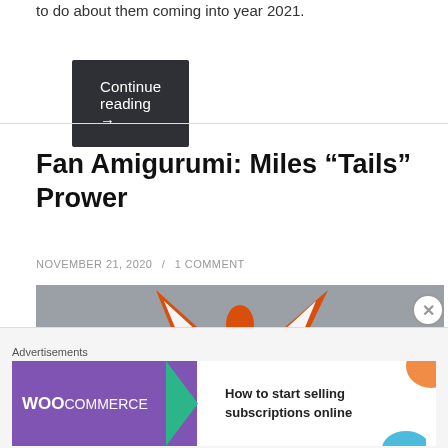to do about them coming into year 2021.
Continue reading →
Fan Amigurumi: Miles “Tails” Prower
NOVEMBER 21, 2020 / 1 COMMENT
[Figure (photo): Photo of an orange and white crocheted fox amigurumi (Miles Tails Prower), showing the top of the head with two fox ears, viewed from above against a grey background.]
Advertisements
[Figure (other): WooCommerce advertisement banner: purple background with WooCommerce logo and green arrow, text reads 'How to start selling subscriptions online' with orange and blue decorative shapes on the right.]